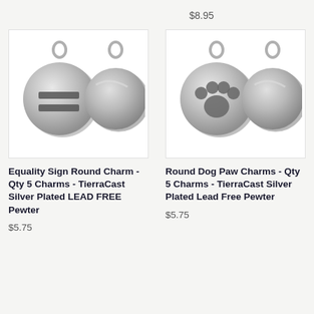$8.95
[Figure (photo): Two silver-plated round charms showing front and back views. Front shows equality sign (two horizontal bars), back is plain smooth circle. TierraCast Silver Plated Lead Free Pewter.]
Equality Sign Round Charm - Qty 5 Charms - TierraCast Silver Plated LEAD FREE Pewter
$5.75
[Figure (photo): Two silver-plated round charms showing front and back views. Front shows a dog paw print cutout, back is plain smooth circle. TierraCast Silver Plated Lead Free Pewter.]
Round Dog Paw Charms - Qty 5 Charms - TierraCast Silver Plated Lead Free Pewter
$5.75